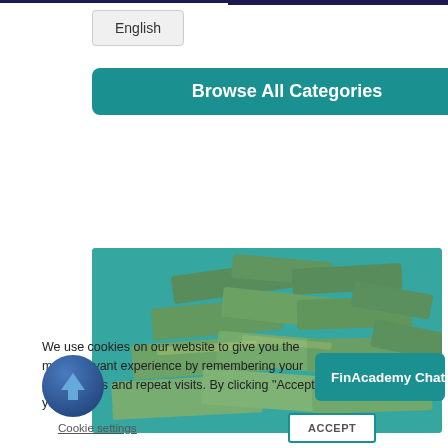English
Browse All Categories
[Figure (photo): Stack of gold bars/ingots piled together against a teal/green background, with a teal color overlay]
We use cookies on our website to give you the most relevant experience by remembering your preferences and repeat visits. By clicking “Accept”, you
FinAcademy Chat Support
Cookie settings
ACCEPT